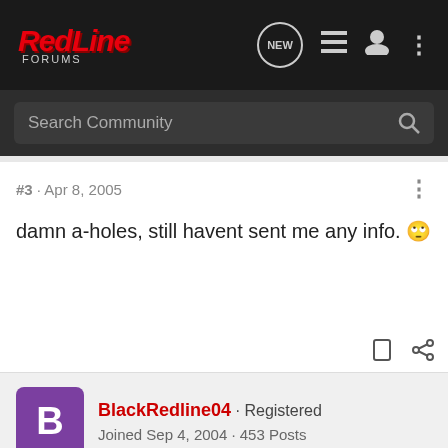RedLine Forums
Search Community
#3 · Apr 8, 2005
damn a-holes, still havent sent me any info. 🙄
BlackRedline04 · Registered
Joined Sep 4, 2004 · 453 Posts
#4 · Apr 10, 2005